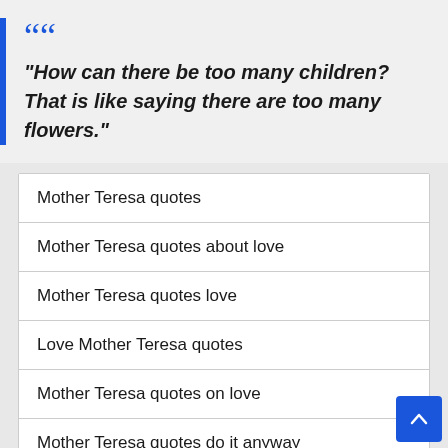“How can there be too many children? That is like saying there are too many flowers.”
Mother Teresa quotes
Mother Teresa quotes about love
Mother Teresa quotes love
Love Mother Teresa quotes
Mother Teresa quotes on love
Mother Teresa quotes do it anyway